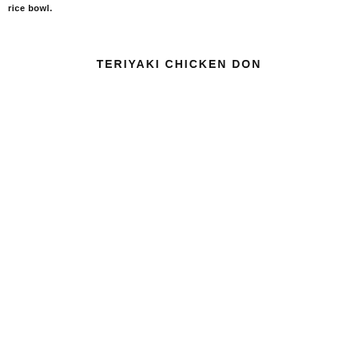rice bowl.
TERIYAKI CHICKEN DON